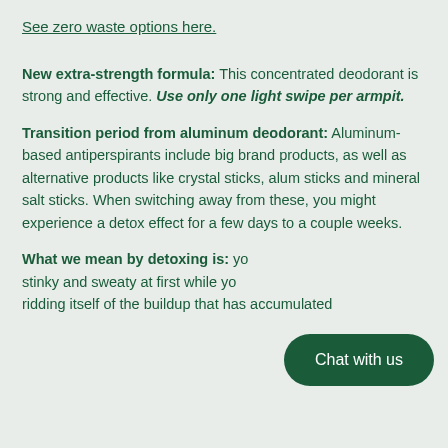See zero waste options here.
New extra-strength formula: This concentrated deodorant is strong and effective. Use only one light swipe per armpit.
Transition period from aluminum deodorant: Aluminum-based antiperspirants include big brand products, as well as alternative products like crystal sticks, alum sticks and mineral salt sticks. When switching away from these, you might experience a detox effect for a few days to a couple weeks.
What we mean by detoxing is: yo... stinky and sweaty at first while yo... ridding itself of the buildup that has accumulated
[Figure (other): Chat with us button — dark green rounded rectangle with white text]